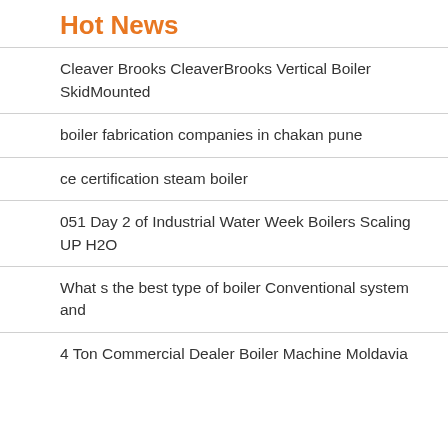Hot News
Cleaver Brooks CleaverBrooks Vertical Boiler SkidMounted
boiler fabrication companies in chakan pune
ce certification steam boiler
051 Day 2 of Industrial Water Week Boilers Scaling UP H2O
What s the best type of boiler Conventional system and
4 Ton Commercial Dealer Boiler Machine Moldavia